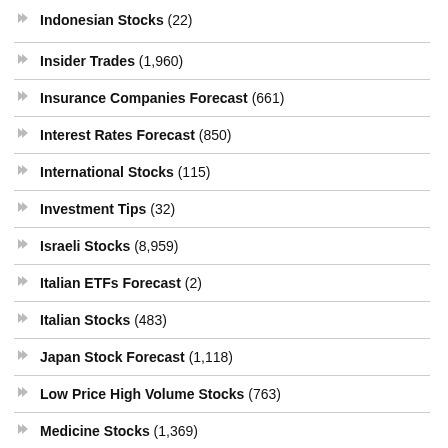Indonesian Stocks (22)
Insider Trades (1,960)
Insurance Companies Forecast (661)
Interest Rates Forecast (850)
International Stocks (115)
Investment Tips (32)
Israeli Stocks (8,959)
Italian ETFs Forecast (2)
Italian Stocks (483)
Japan Stock Forecast (1,118)
Low Price High Volume Stocks (763)
Medicine Stocks (1,369)